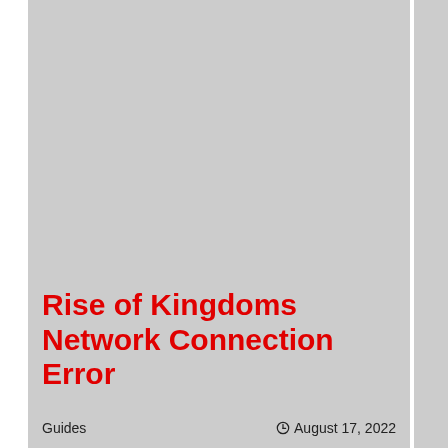Rise of Kingdoms Network Connection Error
Guides
August 17, 2022
Are you getting Network Connection Error in Rise of Kingdoms? The popular mobile strategy game is... release, with...
[Figure (screenshot): Black video player overlay with close (X) button in top-left corner]